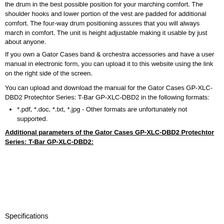the drum in the best possible position for your marching comfort. The shoulder hooks and lower portion of the vest are padded for additional comfort. The four-way drum positioning assures that you will always march in comfort. The unit is height adjustable making it usable by just about anyone.
If you own a Gator Cases band & orchestra accessories and have a user manual in electronic form, you can upload it to this website using the link on the right side of the screen.
You can upload and download the manual for the Gator Cases GP-XLC-DBD2 Protechtor Series: T-Bar GP-XLC-DBD2 in the following formats:
*.pdf, *.doc, *.txt, *.jpg - Other formats are unfortunately not supported.
Additional parameters of the Gator Cases GP-XLC-DBD2 Protechtor Series: T-Bar GP-XLC-DBD2:
Specifications
|  |  |
| --- | --- |
| Dimensions | Shipping: 14 x 10 x 18" (35.6 x 25.4 x 45.7cm) (WHL) |
| Weight | Shipping: 7 lb (3.2kg) |
Packaging Info